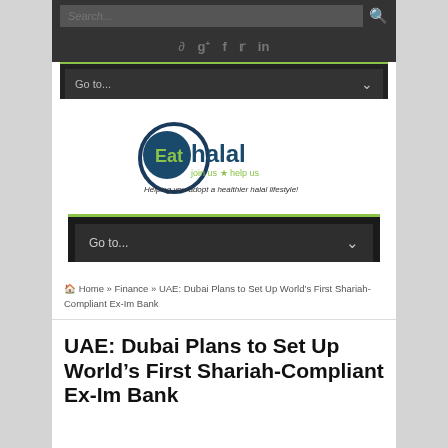Search...
[Figure (logo): EatHalal logo with circular icon and tagline 'Helping you adopt a healthier halal lifestyle!']
Go to...
Home » Finance » UAE: Dubai Plans to Set Up World's First Shariah-Compliant Ex-Im Bank
UAE: Dubai Plans to Set Up World's First Shariah-Compliant Ex-Im Bank